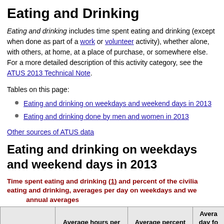Eating and Drinking
Eating and drinking includes time spent eating and drinking (except when done as part of a work or volunteer activity), whether alone, with others, at home, at a place of purchase, or somewhere else. For a more detailed description of this activity category, see the ATUS 2013 Technical Note.
Tables on this page:
Eating and drinking on weekdays and weekend days in 2013
Eating and drinking done by men and women in 2013
Other sources of ATUS data
Eating and drinking on weekdays and weekend days in 2013
Time spent eating and drinking (1) and percent of the civilian population eating and drinking, averages per day on weekdays and weekend days, annual averages
|  | Average hours per | Average percent | Avera day fo |
| --- | --- | --- | --- |